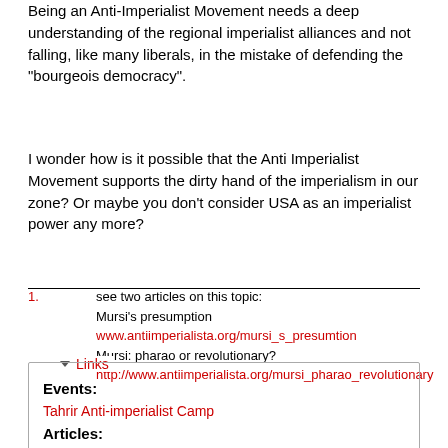Being an Anti-Imperialist Movement needs a deep understanding of the regional imperialist alliances and not falling, like many liberals, in the mistake of defending the "bourgeois democracy".
I wonder how is it possible that the Anti Imperialist Movement supports the dirty hand of the imperialism in our zone? Or maybe you don't consider USA as an imperialist power any more?
1. see two articles on this topic:
Mursi's presumption www.antiimperialista.org/mursi_s_presumtion
Mursi: pharao or revolutionary?
http://www.antiimperialista.org/mursi_pharao_revolutionary
Links
Events:
Tahrir Anti-imperialist Camp
Articles:
Stop the military regime
Tahrir activist and film maker Amal Ramsis in Assisi